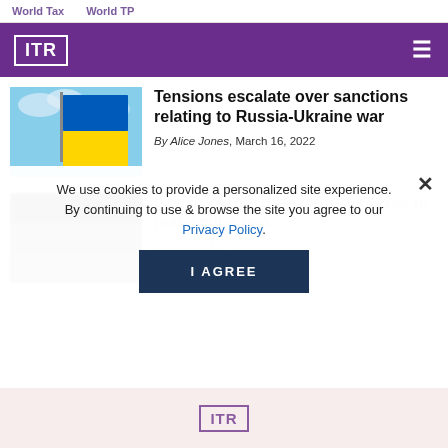World Tax   World TP
[Figure (logo): ITR logo in white on purple background with hamburger menu]
[Figure (photo): Ukrainian flag flying against a blue sky]
Tensions escalate over sanctions relating to Russia-Ukraine war
By Alice Jones, March 16, 2022
[Figure (photo): Blurred article thumbnail image]
Governments prepare top-x taxes to make pillar two...
By Danish Mehboob, March 07, 2022
We use cookies to provide a personalized site experience. By continuing to use & browse the site you agree to our Privacy Policy.
[Figure (logo): ITR logo in purple on pink/rose background ad banner]